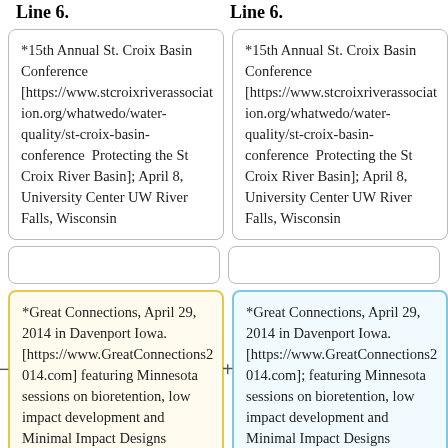Line 6.
Line 6.
*15th Annual St. Croix Basin Conference [https://www.stcroixriverassociation.org/whatwedo/water-quality/st-croix-basin-conference Protecting the St Croix River Basin]; April 8, University Center UW River Falls, Wisconsin
*15th Annual St. Croix Basin Conference [https://www.stcroixriverassociation.org/whatwedo/water-quality/st-croix-basin-conference Protecting the St Croix River Basin]; April 8, University Center UW River Falls, Wisconsin
*Great Connections, April 29, 2014 in Davenport Iowa. [https://www.GreatConnections2014.com] featuring Minnesota sessions on bioretention, low impact development and Minimal Impact Designs Standards
*Great Connections, April 29, 2014 in Davenport Iowa. [https://www.GreatConnections2014.com]; featuring Minnesota sessions on bioretention, low impact development and Minimal Impact Designs Standards